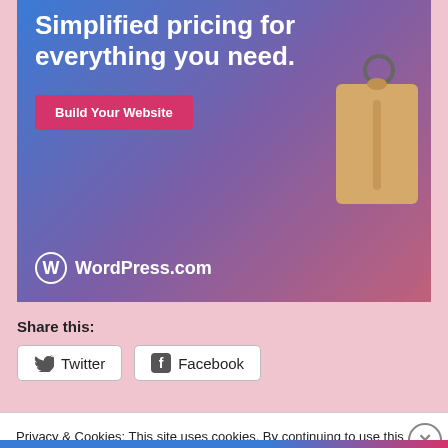[Figure (advertisement): WordPress.com advertisement banner with blue-to-purple gradient background, headline 'Simplified pricing for everything you need.', a pink 'Build Your Website' button, a hanging price tag illustration, and WordPress.com logo at the bottom.]
Share this:
Twitter
Facebook
Privacy & Cookies: This site uses cookies. By continuing to use this website, you agree to their use.
To find out more, including how to control cookies, see here: Cookie Policy
Close and accept